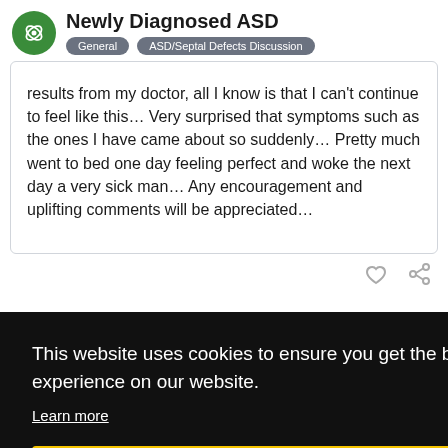Newly Diagnosed ASD | General | ASD/Septal Defects Discussion
results from my doctor, all I know is that I can't continue to feel like this… Very surprised that symptoms such as the ones I have came about so suddenly… Pretty much went to bed one day feeling perfect and woke the next day a very sick man… Any encouragement and uplifting comments will be appreciated…
This website uses cookies to ensure you get the best experience on our website.
Learn more
Got it!